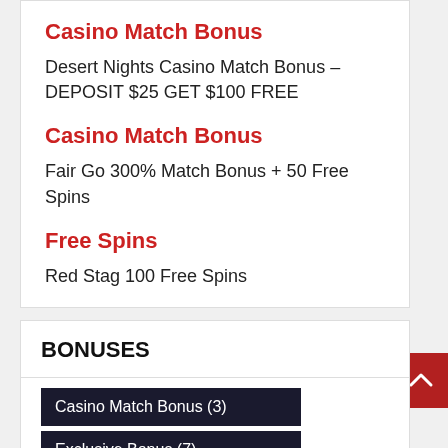Casino Match Bonus
Desert Nights Casino Match Bonus – DEPOSIT $25 GET $100 FREE
Casino Match Bonus
Fair Go 300% Match Bonus + 50 Free Spins
Free Spins
Red Stag 100 Free Spins
BONUSES
Casino Match Bonus (3)
Exclusive Bonus (7)